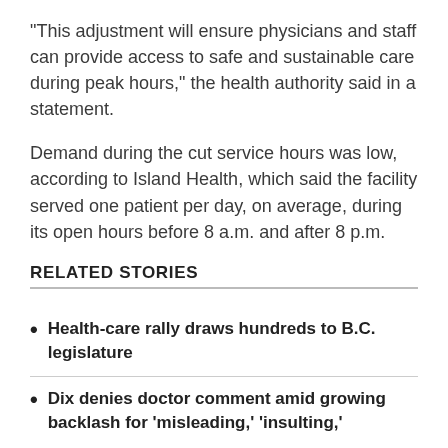"This adjustment will ensure physicians and staff can provide access to safe and sustainable care during peak hours," the health authority said in a statement.
Demand during the cut service hours was low, according to Island Health, which said the facility served one patient per day, on average, during its open hours before 8 a.m. and after 8 p.m.
RELATED STORIES
Health-care rally draws hundreds to B.C. legislature
Dix denies doctor comment amid growing backlash for 'misleading,' 'insulting,'